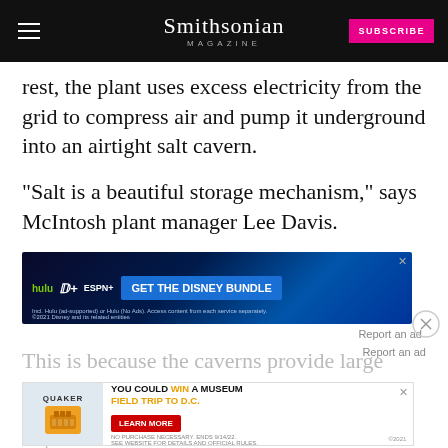Smithsonian Magazine — SUBSCRIBE
rest, the plant uses excess electricity from the grid to compress air and pump it underground into an airtight salt cavern.
“Salt is a beautiful storage mechanism,” says McIntosh plant manager Lee Davis.
[Figure (other): Disney Bundle advertisement banner: hulu, Disney+, ESPN+ logos with 'GET THE DISNEY BUNDLE' call to action button. Fine print: Incl. Hulu (ad-supported) or Hulu (No Ads). Access content from each service separately. ©2021 Disney and its related entities.]
Report an ad
This is because the caverns provide large impe... ays compressed, and the oxygen in the air does not
[Figure (other): Quaker Museum Day advertisement: YOU COULD WIN A MUSEUM FIELD TRIP TO D.C. LEARN MORE button. Fine print: No purchase necessary. Ends 9/14/22. See website for details and official rules.]